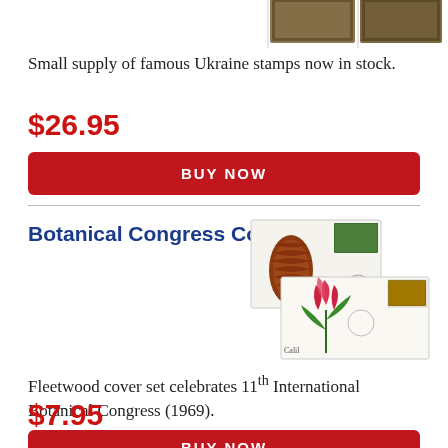[Figure (photo): Partial view of Ukraine stamps at top of page]
Small supply of famous Ukraine stamps now in stock.
$26.95
BUY NOW
Botanical Congress Covers
[Figure (photo): Fleetwood first day covers featuring botanical illustrations including pine cone and floral designs with stamps]
Fleetwood cover set celebrates 11th International Botanical Congress (1969).
$7.95
BUY NOW